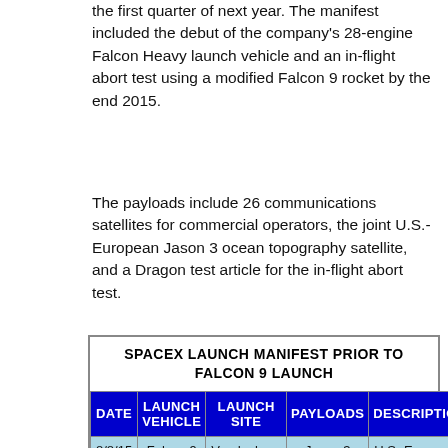the first quarter of next year. The manifest included the debut of the company's 28-engine Falcon Heavy launch vehicle and an in-flight abort test using a modified Falcon 9 rocket by the end 2015.
The payloads include 26 communications satellites for commercial operators, the joint U.S.-European Jason 3 ocean topography satellite, and a Dragon test article for the in-flight abort test.
| DATE | LAUNCH VEHICLE | LAUNCH SITE | PAYLOADS | DESCRIPTION |
| --- | --- | --- | --- | --- |
| 8/8/15 | Falcon 9 | Vandenberg | Jason 3 | U.S.-European ocean topography satellite will deliver data to NASA, NOAA, EUMETSAT and CNES |